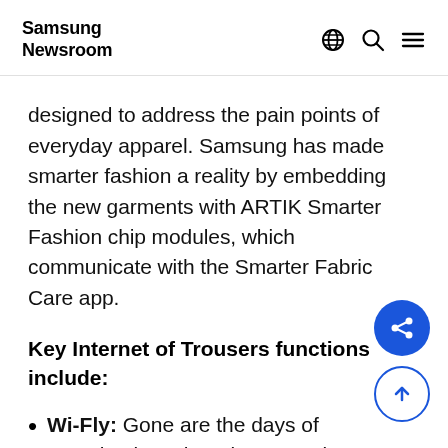Samsung Newsroom
designed to address the pain points of everyday apparel. Samsung has made smarter fashion a reality by embedding the new garments with ARTIK Smarter Fashion chip modules, which communicate with the Smarter Fabric Care app.
Key Internet of Trousers functions include:
Wi-Fly: Gone are the days of unnoticed, unzipped trouser zippers upon exiting the restroom. Should your fly remain open for more than three minutes, the ZipARTIK